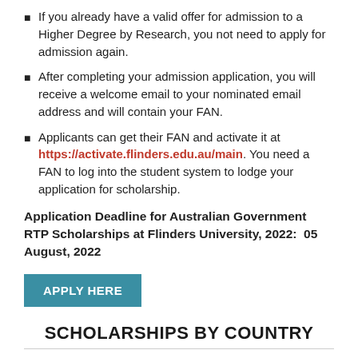If you already have a valid offer for admission to a Higher Degree by Research, you not need to apply for admission again.
After completing your admission application, you will receive a welcome email to your nominated email address and will contain your FAN.
Applicants can get their FAN and activate it at https://activate.flinders.edu.au/main. You need a FAN to log into the student system to lodge your application for scholarship.
Application Deadline for Australian Government RTP Scholarships at Flinders University, 2022:  05 August, 2022
[Figure (other): APPLY HERE button — teal/blue rectangle with white bold uppercase text]
SCHOLARSHIPS BY COUNTRY